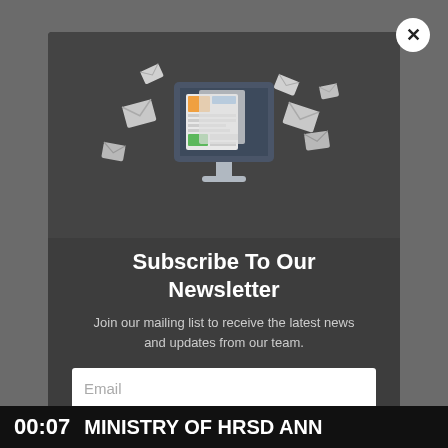[Figure (illustration): Newsletter subscription modal popup with a computer monitor displaying a newspaper/newsletter with envelope icons flying around it]
Subscribe To Our Newsletter
Join our mailing list to receive the latest news and updates from our team.
Email
00:07  MINISTRY OF HRSD ANN